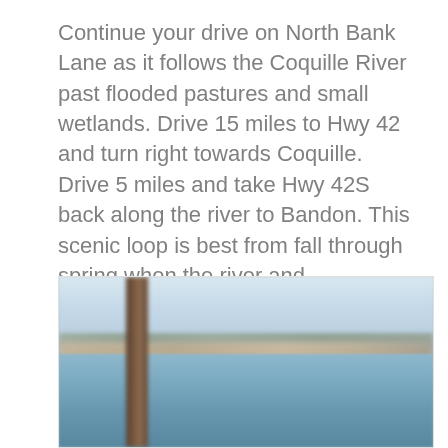Continue your drive on North Bank Lane as it follows the Coquille River past flooded pastures and small wetlands. Drive 15 miles to Hwy 42 and turn right towards Coquille. Drive 5 miles and take Hwy 42S back along the river to Bandon. This scenic loop is best from fall through spring when the river and surrounding fields teem with wintering waterfowl.
[Figure (photo): A blurred outdoor photograph showing a wooden post or piling in the foreground, with a distant shoreline or bank visible across what appears to be a river or body of water. The sky is overcast and pale blue-grey.]